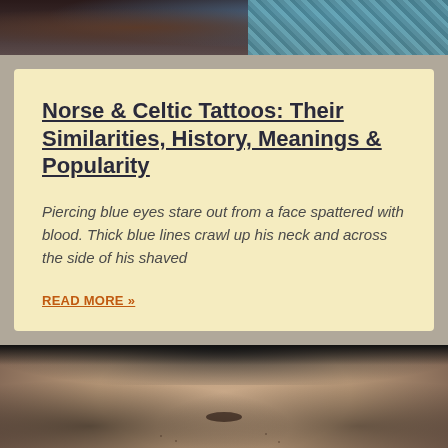[Figure (photo): Top portion of a photo showing a person with tattoos, with teal patterned fabric visible in the background]
Norse & Celtic Tattoos: Their Similarities, History, Meanings & Popularity
Piercing blue eyes stare out from a face spattered with blood. Thick blue lines crawl up his neck and across the side of his shaved
READ MORE »
[Figure (photo): Close-up photo of a man's face from nose down, showing stubble beard and slightly open mouth, with blurred bokeh background]